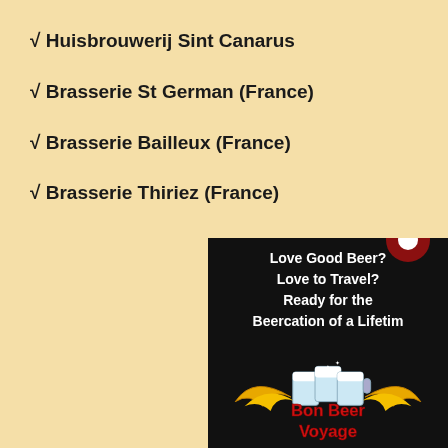√ Huisbrouwerij Sint Canarus
√ Brasserie St German (France)
√ Brasserie Bailleux  (France)
√ Brasserie Thiriez (France)
[Figure (logo): Bon Beer Voyage advertisement with logo showing beer mugs with wings and text: Love Good Beer? Love to Travel? Ready for the Beercation of a Lifetime]